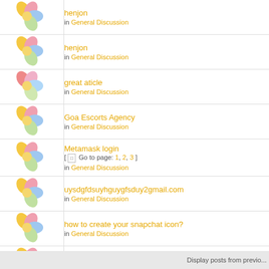henjon in General Discussion
henjon in General Discussion
great aticle in General Discussion
Goa Escorts Agency in General Discussion
Metamask login [ Go to page: 1, 2, 3 ] in General Discussion
uysdgfdsuy hguygfsduy2gmail.com in General Discussion
how to create your snapchat icon? in General Discussion
how to create your snapchat icon? in General Discussion
How to fix the issue "Garmin express not launching? [ Go to page: 1 ... 92, 93, 94 ] in General Discussion
Display posts from previo...